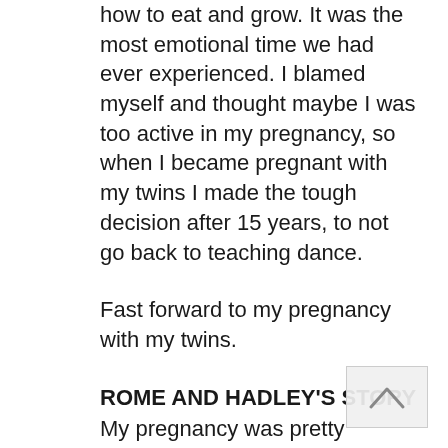how to eat and grow. It was the most emotional time we had ever experienced. I blamed myself and thought maybe I was too active in my pregnancy, so when I became pregnant with my twins I made the tough decision after 15 years, to not go back to teaching dance.
Fast forward to my pregnancy with my twins.
ROME AND HADLEY'S STORY
My pregnancy was pretty textbook, then everything changed in a matter of moments. I had a play date with a friend planned the morning of October 5, 2012 at a local tot spot. told her I was j… g off as we